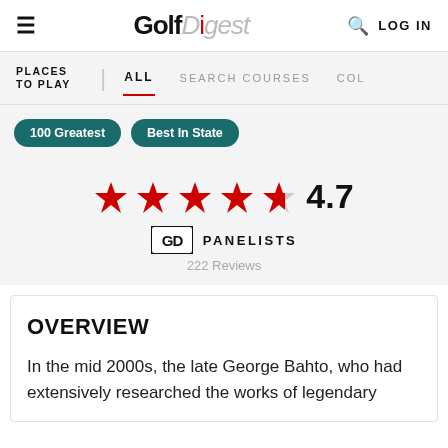Golf Digest — LOG IN
PLACES TO PLAY | ALL   SEARCH COURSES   COL
100 Greatest
Best In State
4.7 stars — GD PANELISTS — 222 Reviews
OVERVIEW
In the mid 2000s, the late George Bahto, who had extensively researched the works of legendary